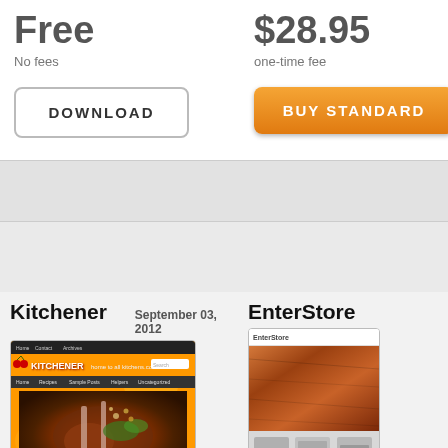Free
No fees
$28.95
one-time fee
DOWNLOAD
BUY STANDARD
Kitchener
September 03, 2012
[Figure (screenshot): Kitchener website theme screenshot showing an orange-themed food/recipe website with a lamb chop dish photo]
EnterStore
[Figure (screenshot): EnterStore website theme screenshot showing a woodgrain/store theme]